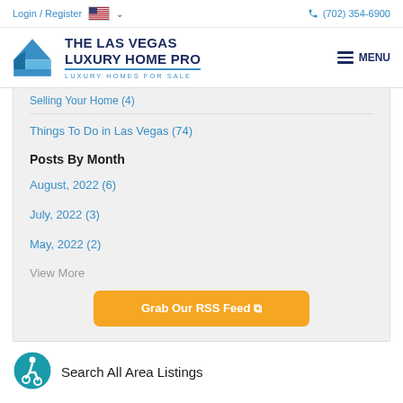Login / Register  (702) 354-6900
[Figure (logo): The Las Vegas Luxury Home Pro logo with house icon and text 'THE LAS VEGAS LUXURY HOME PRO - LUXURY HOMES FOR SALE' and MENU hamburger icon]
Selling Your Home (4)
Things To Do in Las Vegas (74)
Posts By Month
August, 2022 (6)
July, 2022 (3)
May, 2022 (2)
View More
Grab Our RSS Feed
[Figure (illustration): Accessibility icon - teal circle with wheelchair user symbol]
Search All Area Listings